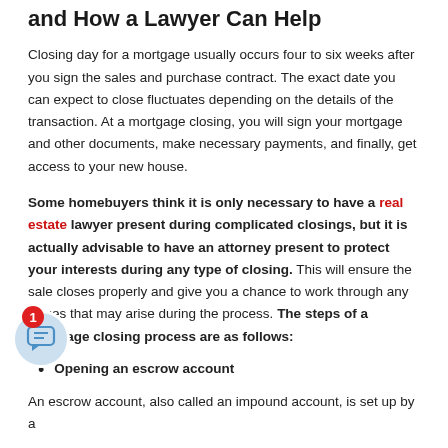and How a Lawyer Can Help
Closing day for a mortgage usually occurs four to six weeks after you sign the sales and purchase contract. The exact date you can expect to close fluctuates depending on the details of the transaction. At a mortgage closing, you will sign your mortgage and other documents, make necessary payments, and finally, get access to your new house.
Some homebuyers think it is only necessary to have a real estate lawyer present during complicated closings, but it is actually advisable to have an attorney present to protect your interests during any type of closing. This will ensure the sale closes properly and give you a chance to work through any issues that may arise during the process. The steps of a mortgage closing process are as follows:
Opening an escrow account
An escrow account, also called an impound account, is set up by a